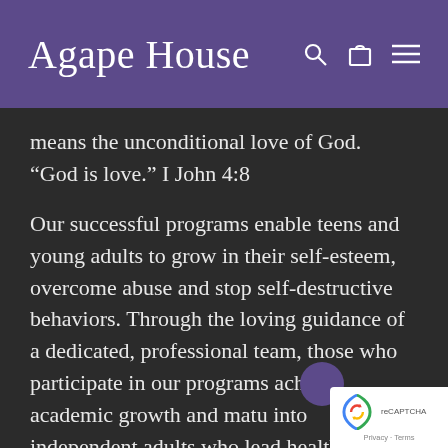Agape House
means the unconditional love of God. “God is love.” I John 4:8
Our successful programs enable teens and young adults to grow in their self-esteem, overcome abuse and stop self-destructive behaviors. Through the loving guidance of a dedicated, professional team, those who participate in our programs achieve academic growth and matu into independent adults who lead healthy, productive lives.